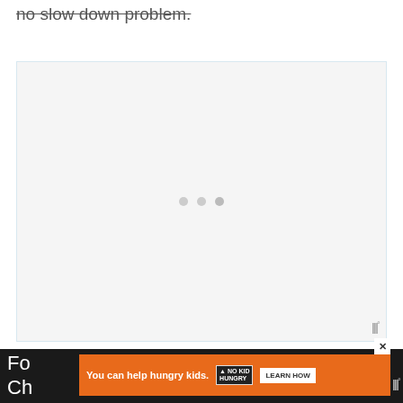no slow down problem.
[Figure (other): Embedded video/media player placeholder with light gray background, three loading dots centered, and Wochit logo watermark in bottom-right corner]
Fo o add Ch
[Figure (other): Advertisement banner: orange background, 'You can help hungry kids.' text, No Kid Hungry logo, LEARN HOW button, and X close button]